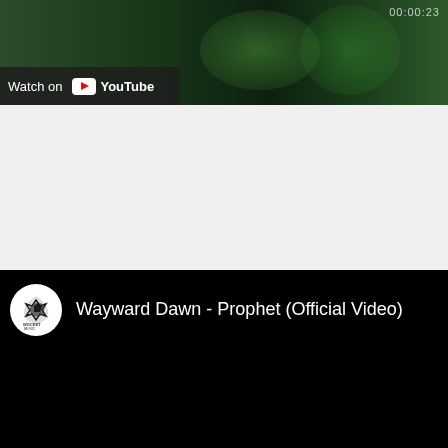[Figure (screenshot): Top portion of a YouTube video embed showing a green/dark background with timestamp 00:00:23 at top right, and a 'Watch on YouTube' button at bottom left]
[Figure (screenshot): YouTube video embed for 'Wayward Dawn - Prophet (Official Video)' with channel icon on black background, showing channel logo (stylized bird/ship), video title text, and 'Watch on YouTube' button at bottom left]